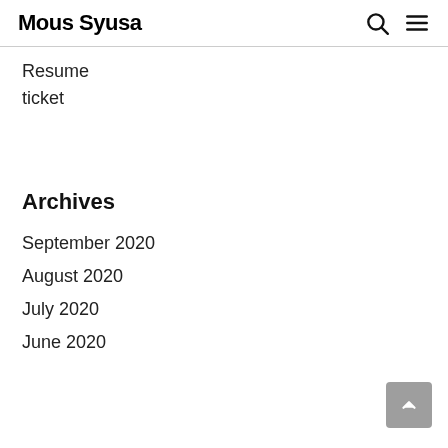Mous Syusa
Resume
ticket
Archives
September 2020
August 2020
July 2020
June 2020